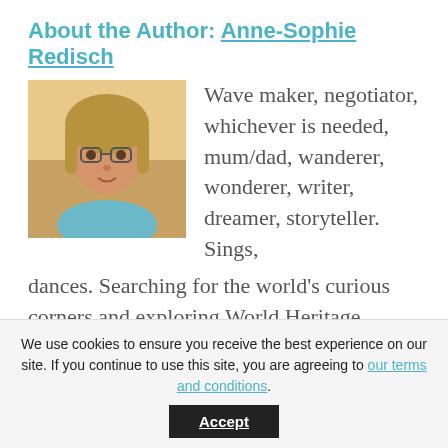About the Author: Anne-Sophie Redisch
[Figure (photo): Headshot photo of Anne-Sophie Redisch, a woman with glasses and light hair]
Wave maker, negotiator, whichever is needed, mum/dad, wanderer, wonderer, writer, dreamer, storyteller. Sings, dances. Searching for the world's curious corners and exploring World Heritage.
Related Posts
[Figure (photo): Photo of a woman in a green top against a stone wall background]
[Figure (photo): Outdoor photo of two people with a blue hat and another person]
We use cookies to ensure you receive the best experience on our site. If you continue to use this site, you are agreeing to our terms and conditions.
Accept